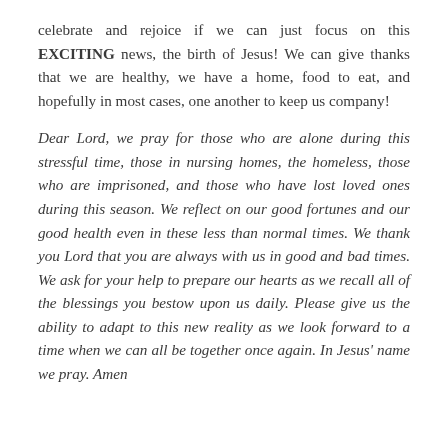celebrate and rejoice if we can just focus on this EXCITING news, the birth of Jesus! We can give thanks that we are healthy, we have a home, food to eat, and hopefully in most cases, one another to keep us company!
Dear Lord, we pray for those who are alone during this stressful time, those in nursing homes, the homeless, those who are imprisoned, and those who have lost loved ones during this season. We reflect on our good fortunes and our good health even in these less than normal times. We thank you Lord that you are always with us in good and bad times. We ask for your help to prepare our hearts as we recall all of the blessings you bestow upon us daily. Please give us the ability to adapt to this new reality as we look forward to a time when we can all be together once again. In Jesus' name we pray. Amen